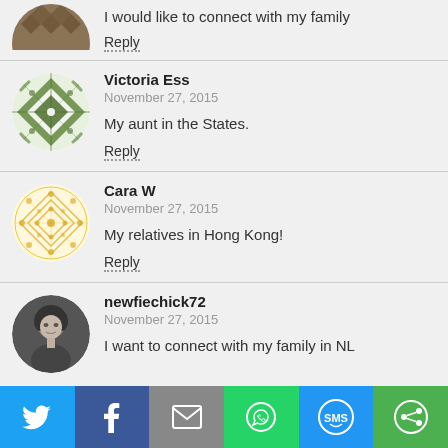I would like to connect with my family
Reply
Victoria Ess
November 27, 2015
My aunt in the States.
Reply
Cara W
November 27, 2015
My relatives in Hong Kong!
Reply
newfiechick72
November 27, 2015
I want to connect with my family in NL
[Figure (infographic): Social share bar with Twitter, Facebook, Email, WhatsApp, SMS, and More buttons]